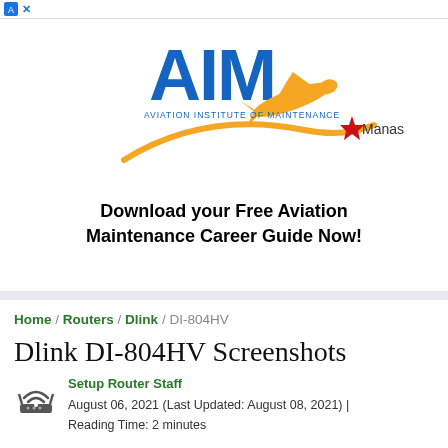[Figure (logo): Aviation Institute of Maintenance (AIM) logo with orange swoosh and airplane, with 'Manassas' location text]
Download your Free Aviation Maintenance Career Guide Now!
Home / Routers / Dlink / DI-804HV
Dlink DI-804HV Screenshots
Setup Router Staff
August 06, 2021 (Last Updated: August 08, 2021) | Reading Time: 2 minutes
Each of these screenshots was captured and